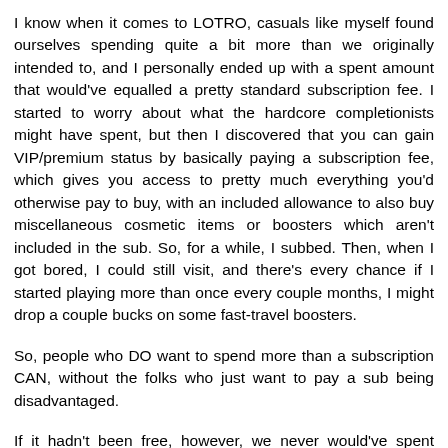I know when it comes to LOTRO, casuals like myself found ourselves spending quite a bit more than we originally intended to, and I personally ended up with a spent amount that would've equalled a pretty standard subscription fee. I started to worry about what the hardcore completionists might have spent, but then I discovered that you can gain VIP/premium status by basically paying a subscription fee, which gives you access to pretty much everything you'd otherwise pay to buy, with an included allowance to also buy miscellaneous cosmetic items or boosters which aren't included in the sub. So, for a while, I subbed. Then, when I got bored, I could still visit, and there's every chance if I started playing more than once every couple months, I might drop a couple bucks on some fast-travel boosters.
So, people who DO want to spend more than a subscription CAN, without the folks who just want to pay a sub being disadvantaged.
If it hadn't been free, however, we never would've spent anything because we never would've picked it up in the first place. The subscription IS a barrier to entry. You just can't